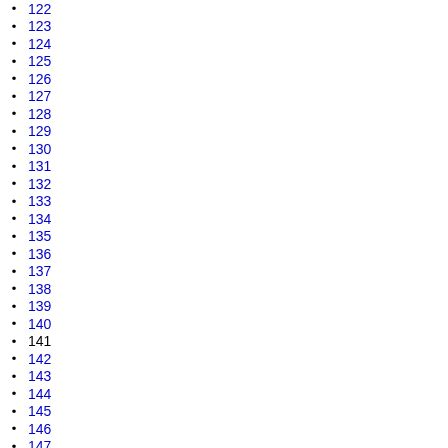122
123
124
125
126
127
128
129
130
131
132
133
134
135
136
137
138
139
140
141
142
143
144
145
146
147